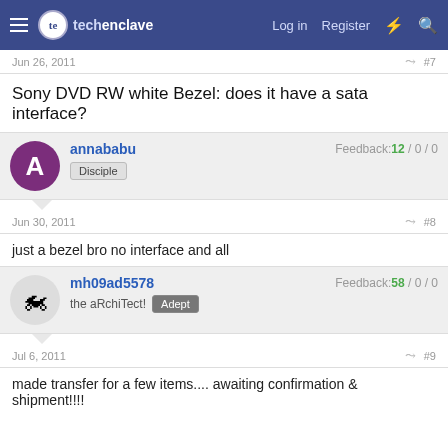techenclave — Log in   Register
Jun 26, 2011   #7
Sony DVD RW white Bezel: does it have a sata interface?
annababu   Disciple   Feedback: 12 / 0 / 0
Jun 30, 2011   #8
just a bezel bro no interface and all
mh09ad5578   the aRchiTect!   Adept   Feedback: 58 / 0 / 0
Jul 6, 2011   #9
made transfer for a few items.... awaiting confirmation & shipment!!!!